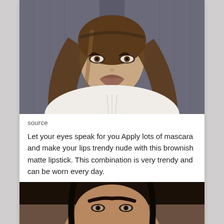[Figure (photo): Young woman with long brown hair, dramatic eye makeup and brownish nude matte lipstick, wearing a white ribbed top, taking a selfie in a car]
source
Let your eyes speak for you Apply lots of mascara and make your lips trendy nude with this brownish matte lipstick. This combination is very trendy and can be worn every day.
[Figure (photo): Young woman with dark hair pulled back in braids, bold eyebrows and eye makeup, close-up portrait with warm lighting]